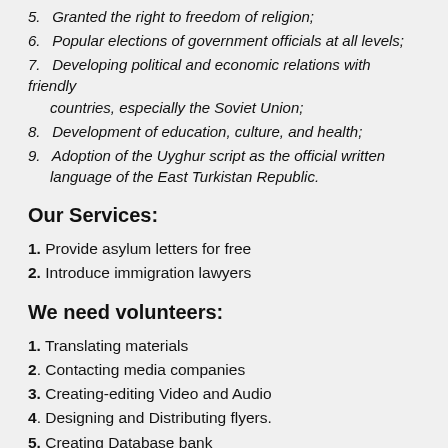5. Granted the right to freedom of religion;
6. Popular elections of government officials at all levels;
7. Developing political and economic relations with friendly countries, especially the Soviet Union;
8. Development of education, culture, and health;
9. Adoption of the Uyghur script as the official written language of the East Turkistan Republic.
Our Services:
1. Provide asylum letters for free
2. Introduce immigration lawyers
We need volunteers:
1. Translating materials
2. Contacting media companies
3. Creating-editing Video and Audio
4. Designing and Distributing flyers.
5. Creating Database bank